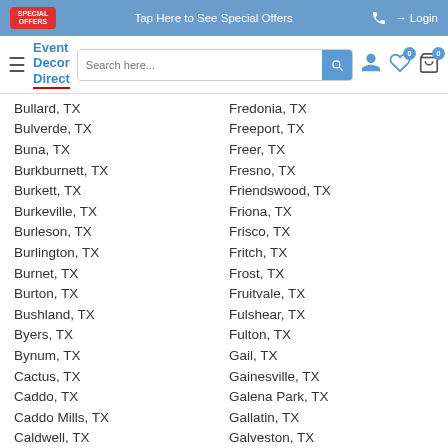Tap Here to See Special Offers | Login
[Figure (screenshot): Event Decor Direct navigation bar with search box, user icon, wishlist (0), and shopping bag (0)]
Bullard, TX
Fredonia, TX
Bulverde, TX
Freeport, TX
Buna, TX
Freer, TX
Burkburnett, TX
Fresno, TX
Burkett, TX
Friendswood, TX
Burkeville, TX
Friona, TX
Burleson, TX
Frisco, TX
Burlington, TX
Fritch, TX
Burnet, TX
Frost, TX
Burton, TX
Fruitvale, TX
Bushland, TX
Fulshear, TX
Byers, TX
Fulton, TX
Bynum, TX
Gail, TX
Cactus, TX
Gainesville, TX
Caddo, TX
Galena Park, TX
Caddo Mills, TX
Gallatin, TX
Caldwell, TX
Galveston, TX
Call, TX
Ganado, TX